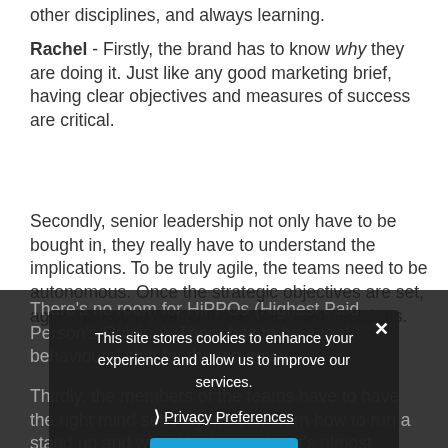other disciplines, and always learning.
Rachel - Firstly, the brand has to know why they are doing it. Just like any good marketing brief, having clear objectives and measures of success are critical.
Secondly, senior leadership not only have to be bought in, they really have to understand the implications. To be truly agile, the teams need to be autonomous. Once the strategic objectives are set, agile marketing teams make their own decisions.
There's no room for HiPPOs (Highest Paid Person's Opinion). There has to be a real behavioural shift for the top guys.
Thirdly, the members of the teams have to have the right mind set. Anyone can learn how to run a stand up and what Kanban is, but it's almost
This site stores cookies to enhance your experience and allow us to improve our services.
Privacy Preferences
I Agree